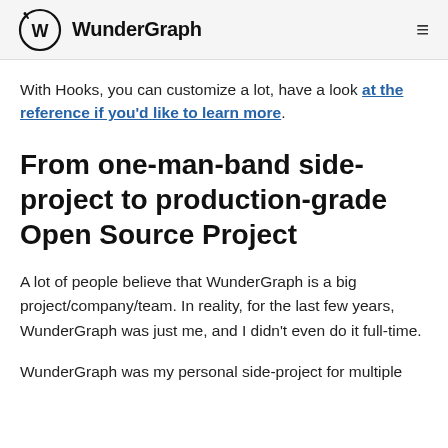WunderGraph
With Hooks, you can customize a lot, have a look at the reference if you'd like to learn more.
From one-man-band side-project to production-grade Open Source Project
A lot of people believe that WunderGraph is a big project/company/team. In reality, for the last few years, WunderGraph was just me, and I didn't even do it full-time.
WunderGraph was my personal side-project for multiple